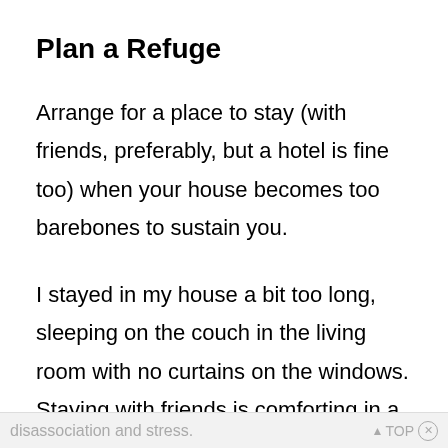Plan a Refuge
Arrange for a place to stay (with friends, preferably, but a hotel is fine too) when your house becomes too barebones to sustain you.
I stayed in my house a bit too long, sleeping on the couch in the living room with no curtains on the windows. Staying with friends is comforting in a time of great
disassociation and stress.